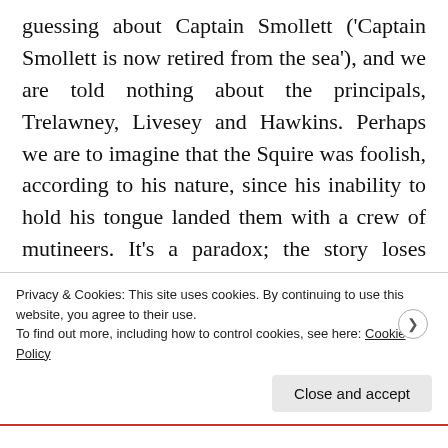guessing about Captain Smollett ('Captain Smollett is now retired from the sea'), and we are told nothing about the principals, Trelawney, Livesey and Hawkins. Perhaps we are to imagine that the Squire was foolish, according to his nature, since his inability to hold his tongue landed them with a crew of mutineers. It's a paradox; the story loses interest in the Squire (after those opening blunders he is given very little to do and the effective leaders are first Smollett and then
Privacy & Cookies: This site uses cookies. By continuing to use this website, you agree to their use.
To find out more, including how to control cookies, see here: Cookie Policy